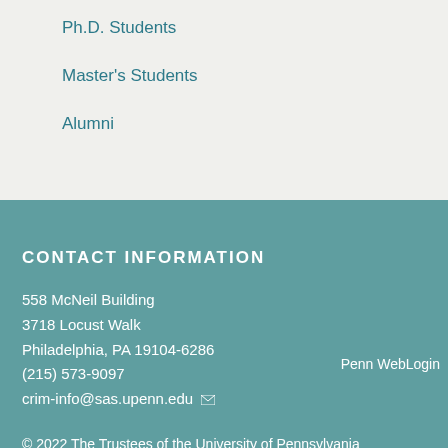Ph.D. Students
Master's Students
Alumni
CONTACT INFORMATION
558 McNeil Building
3718 Locust Walk
Philadelphia, PA 19104-6286
(215) 573-9097
crim-info@sas.upenn.edu
© 2022 The Trustees of the University of Pennsylvania
Penn WebLogin